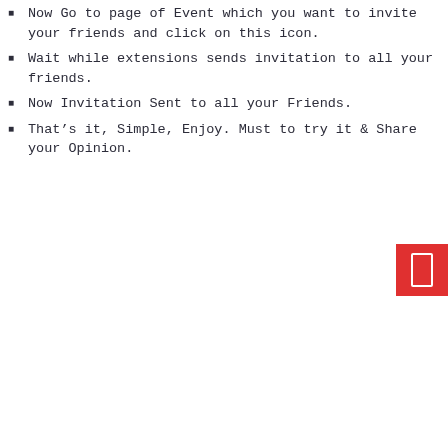Now Go to page of Event which you want to invite your friends and click on this icon.
Wait while extensions sends invitation to all your friends.
Now Invitation Sent to all your Friends.
That’s it, Simple, Enjoy. Must to try it & Share your Opinion.
[Figure (other): Red square button with a white rectangle/phone icon inside]